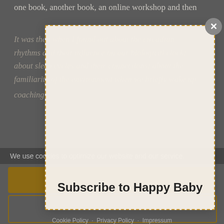one book, another book, an online workshop and then
It was then when I found out about the circadian rhythms and their influence on our biological clock; about sleep cycles and their connections; about the familiarity of the environment when we briefly wake up
coaching
We use cookies to optimize our website and our service.
[Figure (screenshot): Modal popup with dashed orange border containing 'Subscribe to Happy Baby' title and a close button (X) in top-right corner]
Subscribe to Happy Baby